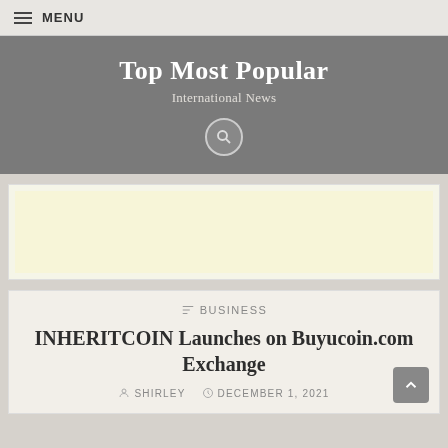MENU
Top Most Popular
International News
[Figure (other): Advertisement placeholder box with light yellow background]
BUSINESS
INHERITCOIN Launches on Buyucoin.com Exchange
SHIRLEY  DECEMBER 1, 2021